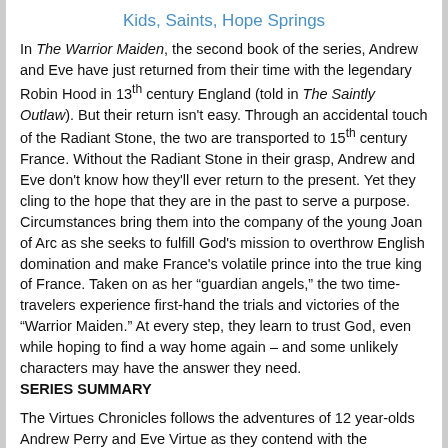Kids, Saints, Hope Springs
In The Warrior Maiden, the second book of the series, Andrew and Eve have just returned from their time with the legendary Robin Hood in 13th century England (told in The Saintly Outlaw). But their return isn't easy. Through an accidental touch of the Radiant Stone, the two are transported to 15th century France. Without the Radiant Stone in their grasp, Andrew and Eve don't know how they'll ever return to the present. Yet they cling to the hope that they are in the past to serve a purpose. Circumstances bring them into the company of the young Joan of Arc as she seeks to fulfill God's mission to overthrow English domination and make France's volatile prince into the true king of France. Taken on as her “guardian angels,” the two time-travelers experience first-hand the trials and victories of the “Warrior Maiden.” At every step, they learn to trust God, even while hoping to find a way home again – and some unlikely characters may have the answer they need.
SERIES SUMMARY
The Virtues Chronicles follows the adventures of 12 year-olds Andrew Perry and Eve Virtue as they contend with the mysterious Radiant Stone – an ancient jewel with the power to send them back in time. The legends of the Stone, and the remarkable history of its discoverer, Alfred